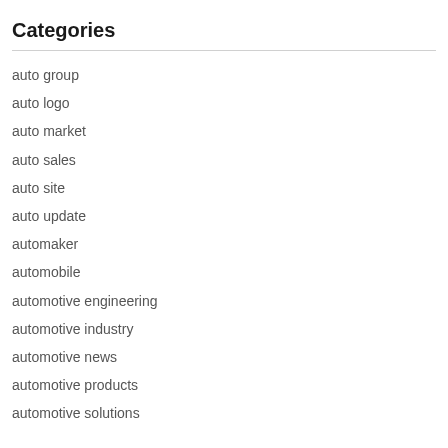Categories
auto group
auto logo
auto market
auto sales
auto site
auto update
automaker
automobile
automotive engineering
automotive industry
automotive news
automotive products
automotive solutions